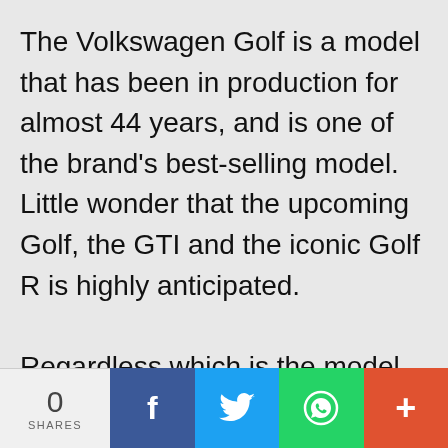The Volkswagen Golf is a model that has been in production for almost 44 years, and is one of the brand's best-selling model. Little wonder that the upcoming Golf, the GTI and the iconic Golf R is highly anticipated.

Regardless which is the model you end up purchasing,
0 SHARES | Facebook | Twitter | WhatsApp | +